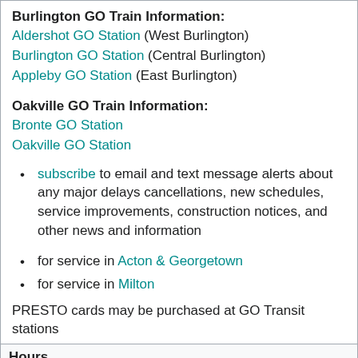Burlington GO Train Information:
Aldershot GO Station (West Burlington)
Burlington GO Station (Central Burlington)
Appleby GO Station (East Burlington)
Oakville GO Train Information:
Bronte GO Station
Oakville GO Station
subscribe to email and text message alerts about any major delays cancellations, new schedules, service improvements, construction notices, and other news and information
for service in Acton & Georgetown
for service in Milton
PRESTO cards may be purchased at GO Transit stations
| Hours |
| --- |
| Mon-Sun 24 hours recorded information line;
Contact Centre Mon-Fri 8 am-7 pm * weekends and statutory holidays 9 am-5 pm;
Customer Service Centre (at Union Station) Mon-Fri 5:45 am- |